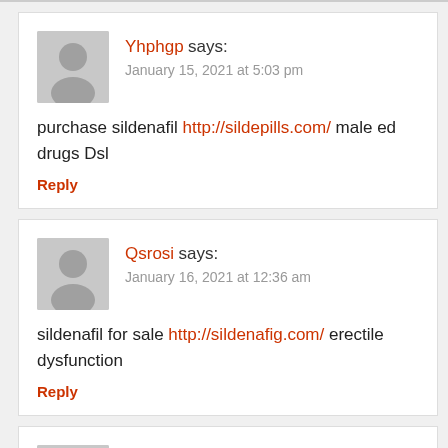Yhphgp says: January 15, 2021 at 5:03 pm
purchase sildenafil http://sildepills.com/ male ed drugs Dsl
Reply
Qsrosi says: January 16, 2021 at 12:36 am
sildenafil for sale http://sildenafig.com/ erectile dysfunction
Reply
supreme outlet says: January 16, 2021 at 8:21 am
Thank you for your whole labor on this blog. Gloria loves